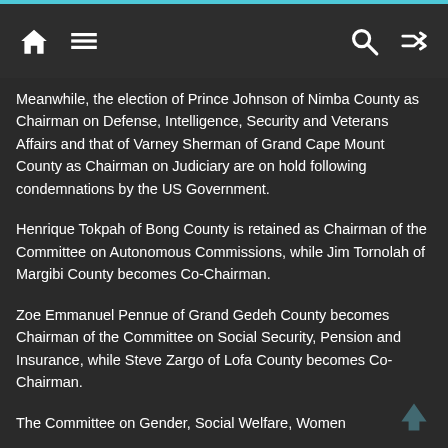Navigation header with home, menu, search, and shuffle icons
Meanwhile, the election of Prince Johnson of Nimba County as Chairman on Defense, Intelligence, Security and Veterans Affairs and that of Varney Sherman of Grand Cape Mount County as Chairman on Judiciary are on hold following condemnations by the US Government.
Henrique Tokpah of Bong County is retained as Chairman of the Committee on Autonomous Commissions, while Jim Tornolah of Margibi County becomes Co-Chairman.
Zoe Emmanuel Pennue of Grand Gedeh County becomes Chairman of the Committee on Social Security, Pension and Insurance, while Steve Zargo of Lofa County becomes Co-Chairman.
The Committee on Gender, Social Welfare, Women